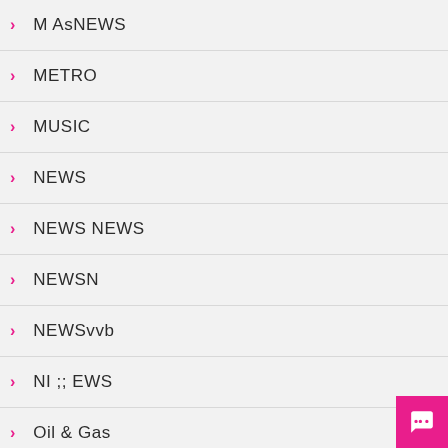M AsNEWS
METRO
MUSIC
NEWS
NEWS NEWS
NEWSN
NEWSvvb
NI ;; EWS
Oil & Gas
OPINION
OPINIONS
P
PERSONALITY
PERSONALITY & LIFESTYLE